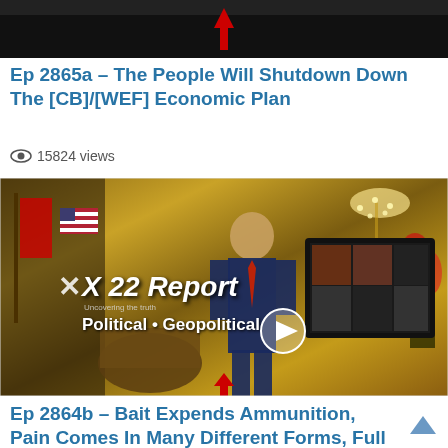[Figure (screenshot): Dark background video thumbnail with a red downward arrow]
Ep 2865a – The People Will Shutdown Down The [CB]/[WEF] Economic Plan
👁 15824 views
[Figure (screenshot): X22 Report video thumbnail showing a man in a suit in a golden ornate room with X22 Report Political Geopolitical overlay and play button]
Ep 2864b – Bait Expends Ammunition, Pain Comes In Many Different Forms, Full Control